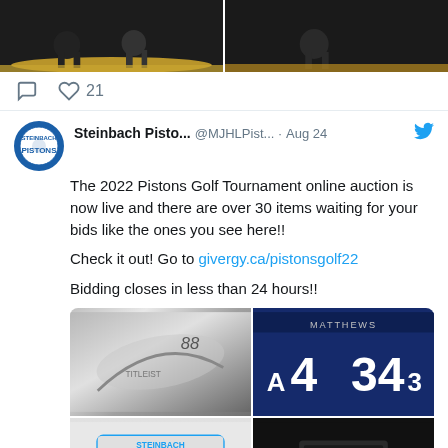[Figure (photo): Top portion of a Twitter/social media post showing two hockey game photos side by side]
♡ 21
[Figure (screenshot): Twitter post by Steinbach Pisto... @MJHLPist... · Aug 24. Text: The 2022 Pistons Golf Tournament online auction is now live and there are over 30 items waiting for your bids like the ones you see here!! Check it out! Go to givergy.ca/pistonsgolf22 Bidding closes in less than 24 hours!! With four auction item photos: golf club, Leafs jersey #34, branded cooler, pellet bag.]